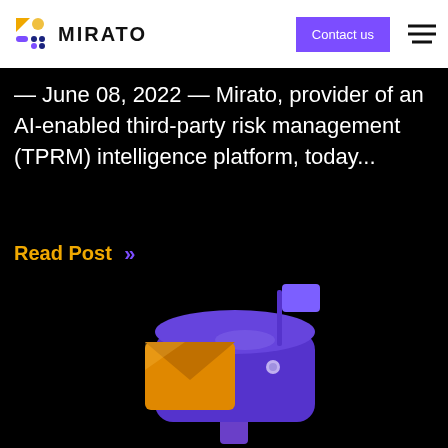MIRATO — Contact us
— June 08, 2022 — Mirato, provider of an AI-enabled third-party risk management (TPRM) intelligence platform, today...
Read Post »
[Figure (illustration): Colorful 3D illustration of a mailbox with an orange envelope and a blue/purple mailbox body with a raised purple flag, on a black background.]